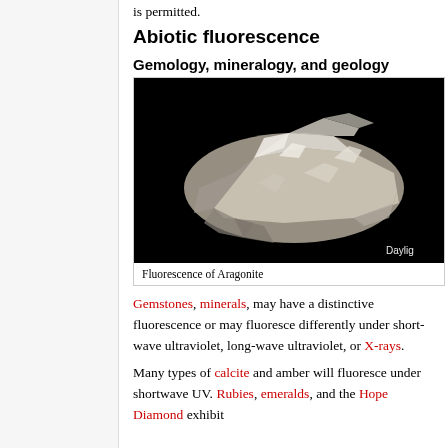is permitted.
Abiotic fluorescence
Gemology, mineralogy, and geology
[Figure (photo): Photo of Aragonite mineral specimen on black background, showing white/cream coloured crystal cluster. Label 'Daylig' visible at bottom right (partially cropped).]
Fluorescence of Aragonite
Gemstones, minerals, may have a distinctive fluorescence or may fluoresce differently under short-wave ultraviolet, long-wave ultraviolet, or X-rays.
Many types of calcite and amber will fluoresce under shortwave UV. Rubies, emeralds, and the Hope Diamond exhibit